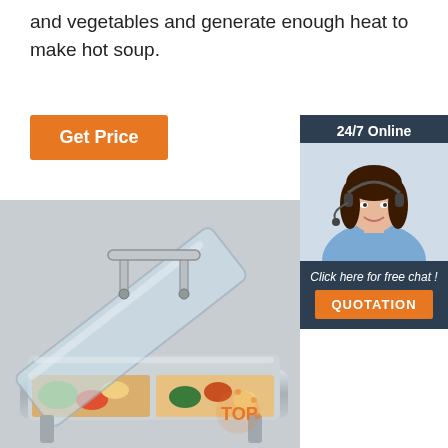and vegetables and generate enough heat to make hot soup.
[Figure (other): Orange 'Get Price' button]
[Figure (other): 24/7 Online customer service sidebar with photo of woman with headset, 'Click here for free chat!' text, and orange QUOTATION button]
[Figure (photo): Stainless steel chafing dish with glass lid open, showing food inside compartments. TOP logo visible in bottom right corner.]